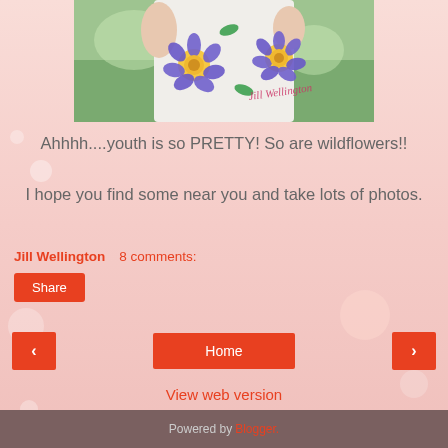[Figure (photo): Photo of a person wearing a white dress with blue purple wildflower/sunflower print, holding something near their chest, outdoors with green background. Watermark text 'Jill Wellington' in pink italic script overlaid on the photo.]
Ahhhh....youth is so PRETTY!  So are wildflowers!!
I hope you find some near you and take lots of photos.
Jill Wellington    8 comments:
Share
Home
View web version
Powered by Blogger.